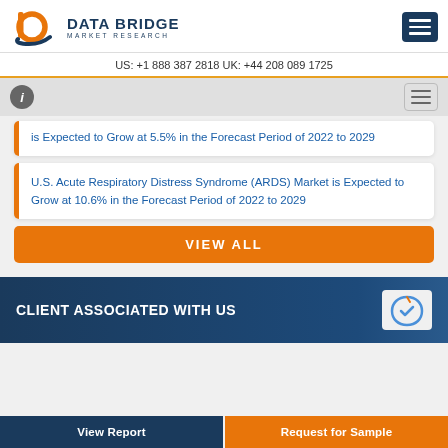[Figure (logo): Data Bridge Market Research logo with orange 'b' icon and dark blue text]
US: +1 888 387 2818 UK: +44 208 089 1725
is Expected to Grow at 5.5% in the Forecast Period of 2022 to 2029
U.S. Acute Respiratory Distress Syndrome (ARDS) Market is Expected to Grow at 10.6% in the Forecast Period of 2022 to 2029
VIEW ALL
CLIENT ASSOCIATED WITH US
View Report
Request for Sample